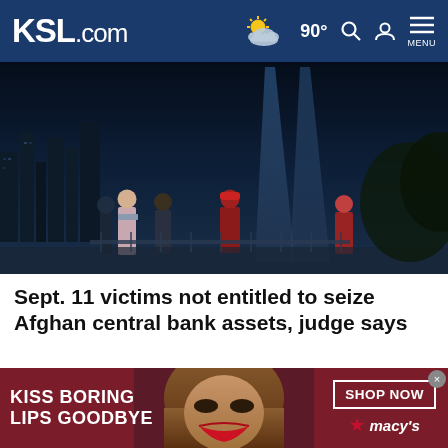KSL.com — 90° weather — Search — Account — MENU
[Figure (photo): Nighttime photo of people standing near a waterfront with a city skyline and blue light beams in the background, 9/11 memorial tribute in lights]
Sept. 11 victims not entitled to seize Afghan central bank assets, judge says
Cookie Notice
We use cookies to improve your experience, analyze site traffic, and to personalize content and ads. By continuing to use our site, you consent to our use of cookies. Please visit our Terms of Use and Privacy Policy for more information.
[Figure (photo): Macy's advertisement banner: KISS BORING LIPS GOODBYE — SHOP NOW — Macy's logo — woman with red lipstick]